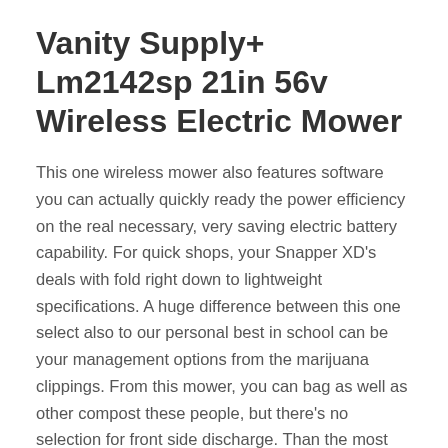Vanity Supply+ Lm2142sp 21in 56v Wireless Electric Mower
This one wireless mower also features software you can actually quickly ready the power efficiency on the real necessary, very saving electric battery capability. For quick shops, your Snapper XD's deals with fold right down to lightweight specifications. A huge difference between this one select also to our personal best in school can be your management options from the marijuana clippings. From this mower, you can bag as well as other compost these people, but there's no selection for front side discharge. Than the most natural gas traveling lawn mowers, this 1 electric model is nearly four times costly, nevertheless it isn't getting effective and other productive.
Electric Lawn mower